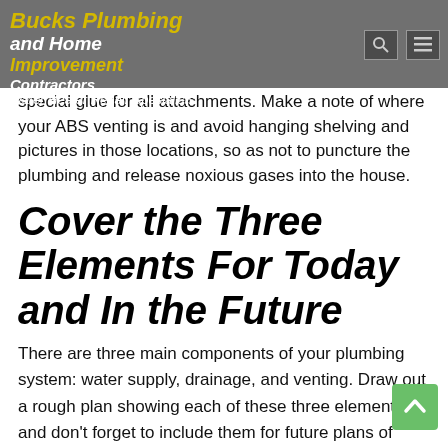Bucks Plumbing and Home Improvement Contractors Water Heater Repair Specialists
special glue for all attachments. Make a note of where your ABS venting is and avoid hanging shelving and pictures in those locations, so as not to puncture the plumbing and release noxious gases into the house.
Cover the Three Elements For Today and In the Future
There are three main components of your plumbing system: water supply, drainage, and venting. Draw out a rough plan showing each of these three elements and don't forget to include them for future plans of expansion.
If you will be in need of another bathroom or should be replacing your standard tub shower with something a little more luxurious, be sure the rough plumbing will account for it. The size and location of each pipe in the